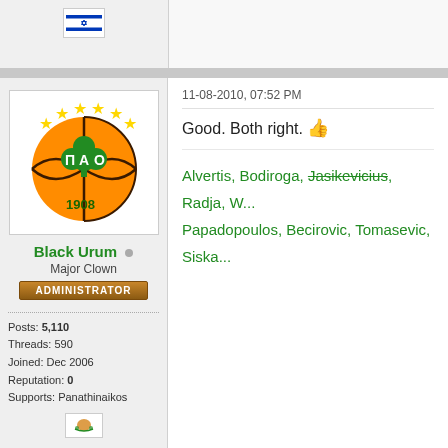[Figure (screenshot): Panathinaikos basketball forum post. Top portion shows a cropped previous post with Israeli flag. Main post shows PAO logo avatar (basketball with shamrock), username Black Urum, role Major Clown, Administrator badge, user stats. Post timestamp 11-08-2010, 07:52 PM with message 'Good. Both right.' and thumbs up emoji, followed by green text listing players.]
11-08-2010, 07:52 PM
Good. Both right. 👍
Alvertis, Bodiroga, Jasikevicius, Radja, W... Papadopoulos, Becirovic, Tomasevic, Siska...
Black Urum
Major Clown
ADMINISTRATOR
Posts: 5,110
Threads: 590
Joined: Dec 2006
Reputation: 0
Supports: Panathinaikos